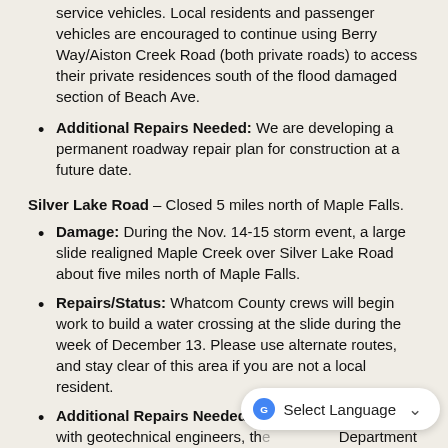service vehicles. Local residents and passenger vehicles are encouraged to continue using Berry Way/Aiston Creek Road (both private roads) to access their private residences south of the flood damaged section of Beach Ave.
Additional Repairs Needed: We are developing a permanent roadway repair plan for construction at a future date.
Silver Lake Road – Closed 5 miles north of Maple Falls.
Damage: During the Nov. 14-15 storm event, a large slide realigned Maple Creek over Silver Lake Road about five miles north of Maple Falls.
Repairs/Status: Whatcom County crews will begin work to build a water crossing at the slide during the week of December 13. Please use alternate routes, and stay clear of this area if you are not a local resident.
Additional Repairs Needed: The County is working with geotechnical engineers, the Department of Fish and Wildlife, and adjacent property owners to determine short- and long-term